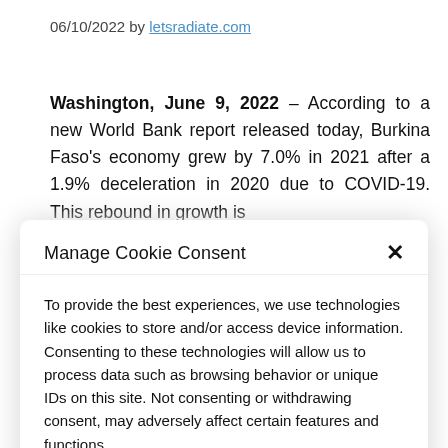06/10/2022 by letsradiate.com
Washington, June 9, 2022 – According to a new World Bank report released today, Burkina Faso's economy grew by 7.0% in 2021 after a 1.9% deceleration in 2020 due to COVID-19. This rebound in growth is
Manage Cookie Consent ×
To provide the best experiences, we use technologies like cookies to store and/or access device information. Consenting to these technologies will allow us to process data such as browsing behavior or unique IDs on this site. Not consenting or withdrawing consent, may adversely affect certain features and functions.
Accept
Cookie Policy